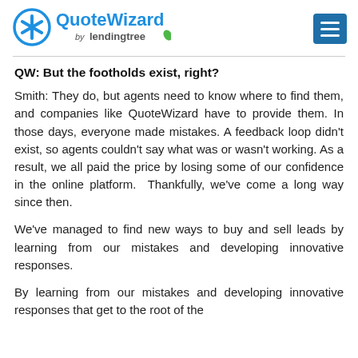QuoteWizard by lendingtree
QW: But the footholds exist, right?
Smith: They do, but agents need to know where to find them, and companies like QuoteWizard have to provide them. In those days, everyone made mistakes. A feedback loop didn't exist, so agents couldn't say what was or wasn't working. As a result, we all paid the price by losing some of our confidence in the online platform.  Thankfully, we've come a long way since then.
We've managed to find new ways to buy and sell leads by learning from our mistakes and developing innovative responses.
By learning from our mistakes and developing innovative responses that get to the root of the